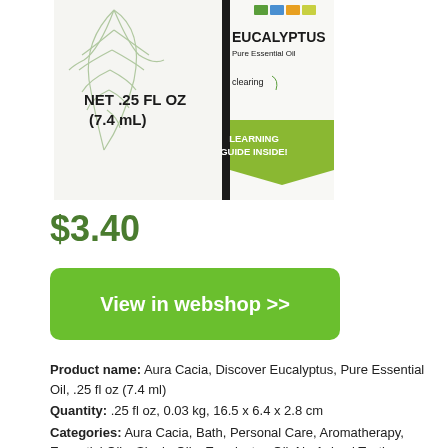[Figure (photo): Product photo of Aura Cacia Eucalyptus Pure Essential Oil box, showing NET .25 FL OZ (7.4 mL) and LEARNING GUIDE INSIDE! label, with eucalyptus leaf illustration and clearing text]
$3.40
View in webshop >>
Product name: Aura Cacia, Discover Eucalyptus, Pure Essential Oil, .25 fl oz (7.4 ml)
Quantity: .25 fl oz, 0.03 kg, 16.5 x 6.4 x 2.8 cm
Categories: Aura Cacia, Bath, Personal Care, Aromatherapy, Essential Oils, Single Oils, Eucalyptus Oil, No Animal Testing, Cruelty